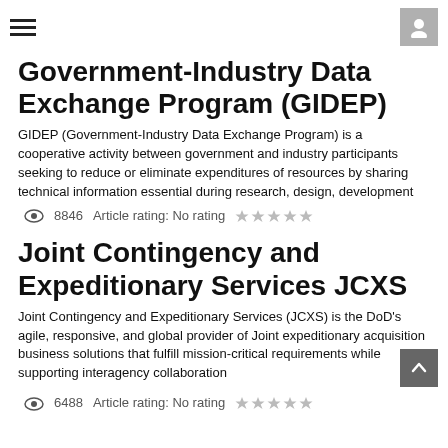Navigation header with hamburger menu and user icon
Government-Industry Data Exchange Program (GIDEP)
GIDEP (Government-Industry Data Exchange Program) is a cooperative activity between government and industry participants seeking to reduce or eliminate expenditures of resources by sharing technical information essential during research, design, development
8846   Article rating: No rating ★★★★★
Joint Contingency and Expeditionary Services JCXS
Joint Contingency and Expeditionary Services (JCXS) is the DoD's agile, responsive, and global provider of Joint expeditionary acquisition business solutions that fulfill mission-critical requirements while supporting interagency collaboration
6488   Article rating: No rating ★★★★★